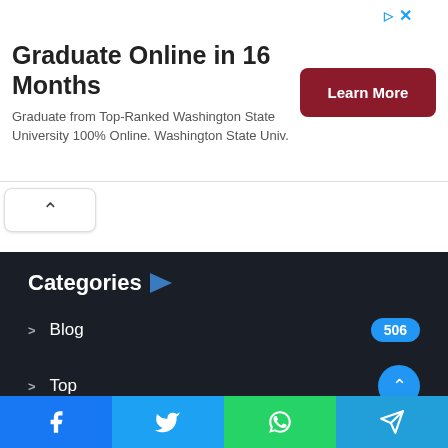[Figure (other): Advertisement banner: Graduate Online in 16 Months – Graduate from Top-Ranked Washington State University 100% Online. Washington State Univ. with a dark red Learn More button]
[Figure (other): Collapse/chevron up button on white pill background]
Categories
Blog  506
Top
Graphic design  63
[Figure (other): Social share bar with Facebook, Twitter, WhatsApp, Telegram buttons]